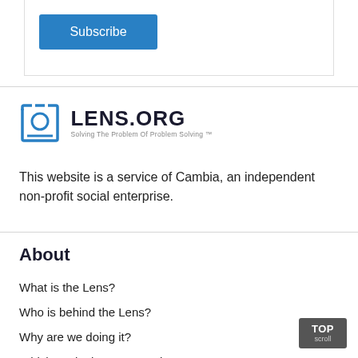[Figure (other): Subscribe button — blue rectangle with white text 'Subscribe']
[Figure (logo): Lens.org logo with icon and tagline 'Solving The Problem Of Problem Solving']
This website is a service of Cambia, an independent non-profit social enterprise.
About
What is the Lens?
Who is behind the Lens?
Why are we doing it?
Which Institutions support it?
Who are we related to?